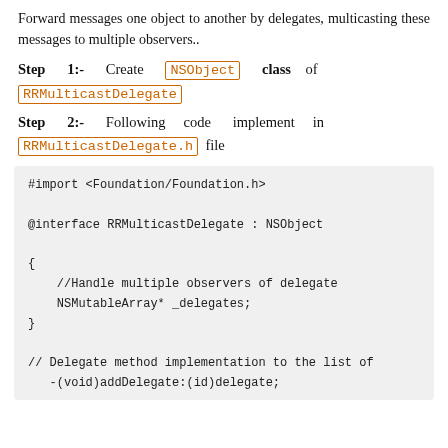Forward messages one object to another by delegates, multicasting these messages to multiple observers..
Step 1:- Create NSObject class of RRMulticastDelegate
Step 2:- Following code implement in RRMulticastDelegate.h file
#import <Foundation/Foundation.h>

@interface RRMulticastDelegate : NSObject

{
    //Handle multiple observers of delegate
    NSMutableArray* _delegates;
}

// Delegate method implementation to the list of
- (void)addDelegate:(id)delegate;